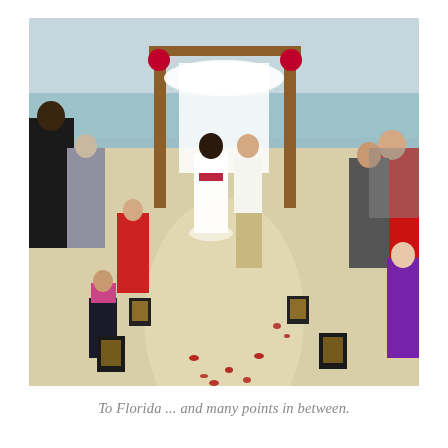[Figure (photo): A beach wedding ceremony viewed from behind. A bride in a white dress with a red sash and groom in white stand before a wooden arch draped with white fabric and red floral accents, facing the ocean. Guests line the aisle on both sides. Black lanterns and rose petals line the sandy aisle. A young flower girl in red dress is visible on the left.]
To Florida ... and many points in between.